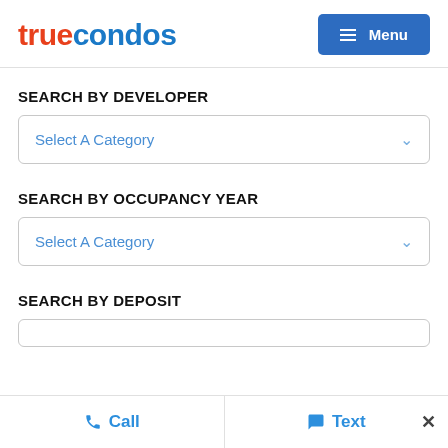truecondos — Menu
SEARCH BY DEVELOPER
Select A Category
SEARCH BY OCCUPANCY YEAR
Select A Category
SEARCH BY DEPOSIT
Call   Text   ×